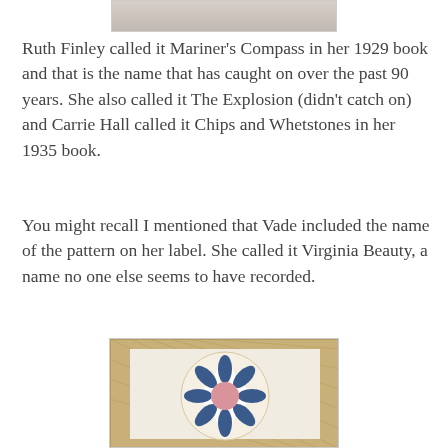[Figure (photo): Partial photo visible at top of page, cropped]
Ruth Finley called it Mariner's Compass in her 1929 book and that is the name that has caught on over the past 90 years. She also called it The Explosion (didn't catch on) and Carrie Hall called it Chips and Whetstones in her 1935 book.
You might recall I mentioned that Vade included the name of the pattern on her label. She called it Virginia Beauty, a name no one else seems to have recorded.
[Figure (photo): Photograph of a Mariner's Compass quilt block with blue and pink fabrics on a tan/beige patterned border background]